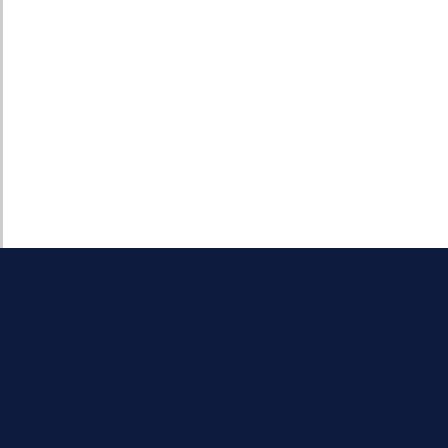[Figure (other): White background area with vertical left border line — upper portion of webpage screenshot]
Enquiry Form
name: (form input field)
email: (form input field)
your message... (textarea)
Send (button)
Latest B
Paying y
August
Beautici